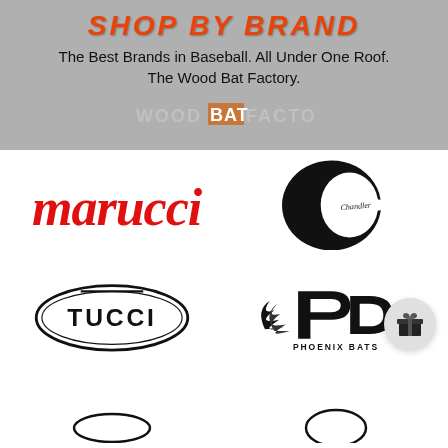SHOP BY BRAND
The Best Brands in Baseball. All Under One Roof. The Wood Bat Factory.
[Figure (logo): Wood Bat Factory logo text in stylized font]
[Figure (logo): Marucci logo in red italic text]
[Figure (logo): Chandler Bats logo - large black C with Chandler signature]
[Figure (logo): Tucci logo in oval frame]
[Figure (logo): Phoenix Bats logo with flame design]
[Figure (logo): Gift/reward button icon]